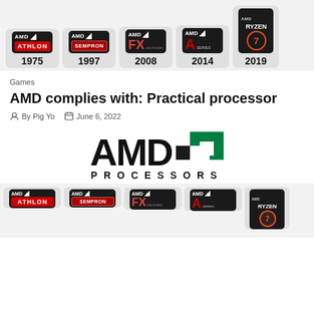[Figure (illustration): Top strip showing five AMD processor brand badges with years: AMD Athlon 1975, AMD Sempron 1997, AMD FX Unlocked 2008, AMD A Series 2014, AMD Ryzen 7 2019]
Games
AMD complies with: Practical processor
By Pig Yo  June 6, 2022
[Figure (logo): AMD Processors logo: large bold AMD wordmark with green arrow logo mark, and PROCESSORS in spaced caps below]
[Figure (illustration): Bottom strip showing five AMD processor brand badges partially cut off: AMD Athlon, AMD Sempron, AMD FX, AMD A Series, AMD Ryzen 7]